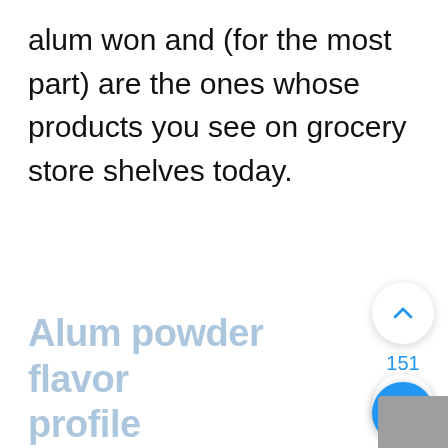alum won and (for the most part) are the ones whose products you see on grocery store shelves today.
Alum powder flavor profile